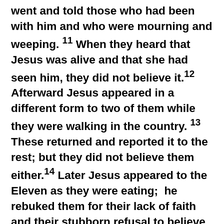went and told those who had been with him and who were mourning and weeping. 11 When they heard that Jesus was alive and that she had seen him, they did not believe it. 12 Afterward Jesus appeared in a different form to two of them while they were walking in the country. 13 These returned and reported it to the rest; but they did not believe them either. 14 Later Jesus appeared to the Eleven as they were eating; he rebuked them for their lack of faith and their stubborn refusal to believe those who had seen him after he had risen. 15 He said to them, “Go into all the world and preach the gospel to all creation. 16 Whoever believes and is baptized will be saved, but whoever does not believe will be condemned. 17 And these signs will accompany those who believe: In my name they will drive out demons; they will speak in new tongues; 18 they will pick up snakes with their hands;